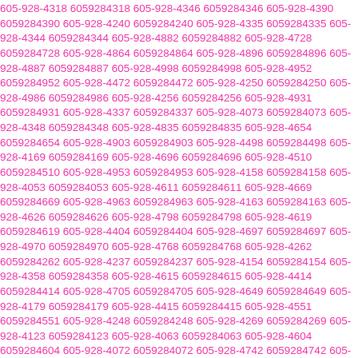605-928-4318 6059284318 605-928-4346 6059284346 605-928-4390 6059284390 605-928-4240 6059284240 605-928-4335 6059284335 605-928-4344 6059284344 605-928-4882 6059284882 605-928-4728 6059284728 605-928-4864 6059284864 605-928-4896 6059284896 605-928-4887 6059284887 605-928-4998 6059284998 605-928-4952 6059284952 605-928-4472 6059284472 605-928-4250 6059284250 605-928-4986 6059284986 605-928-4256 6059284256 605-928-4931 6059284931 605-928-4337 6059284337 605-928-4073 6059284073 605-928-4348 6059284348 605-928-4835 6059284835 605-928-4654 6059284654 605-928-4903 6059284903 605-928-4498 6059284498 605-928-4169 6059284169 605-928-4696 6059284696 605-928-4510 6059284510 605-928-4953 6059284953 605-928-4158 6059284158 605-928-4053 6059284053 605-928-4611 6059284611 605-928-4669 6059284669 605-928-4963 6059284963 605-928-4163 6059284163 605-928-4626 6059284626 605-928-4798 6059284798 605-928-4619 6059284619 605-928-4404 6059284404 605-928-4697 6059284697 605-928-4970 6059284970 605-928-4768 6059284768 605-928-4262 6059284262 605-928-4237 6059284237 605-928-4154 6059284154 605-928-4358 6059284358 605-928-4615 6059284615 605-928-4414 6059284414 605-928-4705 6059284705 605-928-4649 6059284649 605-928-4179 6059284179 605-928-4415 6059284415 605-928-4551 6059284551 605-928-4248 6059284248 605-928-4269 6059284269 605-928-4123 6059284123 605-928-4063 6059284063 605-928-4604 6059284604 605-928-4072 6059284072 605-928-4742 6059284742 605-928-4239 6059284239 605-928-4362 6059284362 605-928-4428